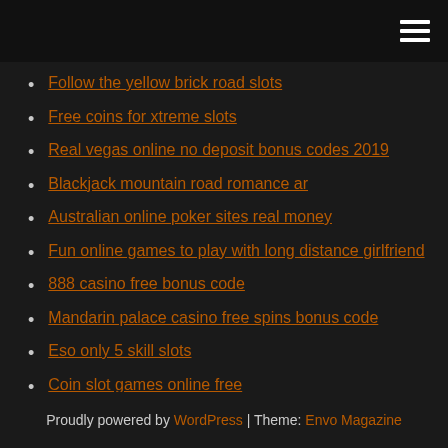[hamburger menu icon]
Follow the yellow brick road slots
Free coins for xtreme slots
Real vegas online no deposit bonus codes 2019
Blackjack mountain road romance ar
Australian online poker sites real money
Fun online games to play with long distance girlfriend
888 casino free bonus code
Mandarin palace casino free spins bonus code
Eso only 5 skill slots
Coin slot games online free
Rivers casino des plaines des plaines il
Proudly powered by WordPress | Theme: Envo Magazine